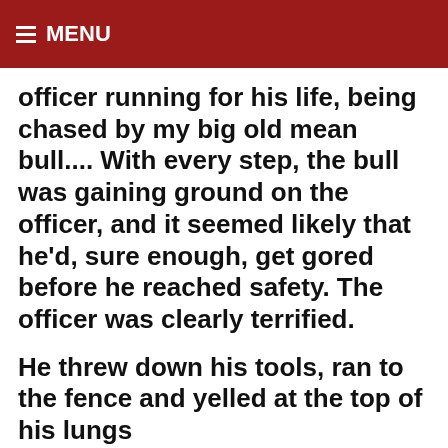≡ MENU
officer running for his life, being chased by my big old mean bull.... With every step, the bull was gaining ground on the officer, and it seemed likely that he'd, sure enough, get gored before he reached safety. The officer was clearly terrified.
He threw down his tools, ran to the fence and yelled at the top of his lungs
“Your badge, show him your BADGE!!”